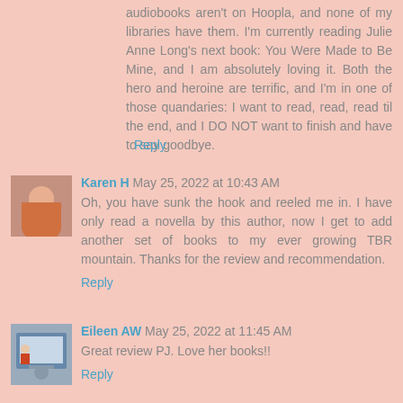audiobooks aren't on Hoopla, and none of my libraries have them. I'm currently reading Julie Anne Long's next book: You Were Made to Be Mine, and I am absolutely loving it. Both the hero and heroine are terrific, and I'm in one of those quandaries: I want to read, read, read til the end, and I DO NOT want to finish and have to say goodbye.
Reply
Karen H May 25, 2022 at 10:43 AM
Oh, you have sunk the hook and reeled me in. I have only read a novella by this author, now I get to add another set of books to my ever growing TBR mountain. Thanks for the review and recommendation.
Reply
Eileen AW May 25, 2022 at 11:45 AM
Great review PJ. Love her books!!
Reply